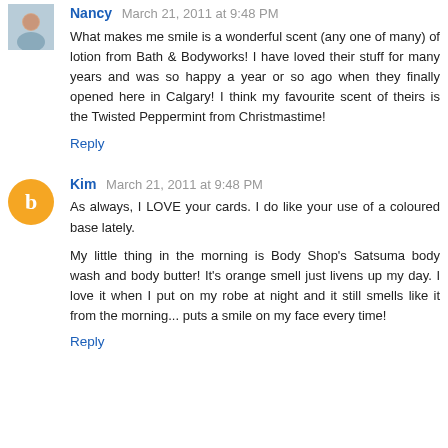Nancy March 21, 2011 at 9:48 PM
What makes me smile is a wonderful scent (any one of many) of lotion from Bath & Bodyworks! I have loved their stuff for many years and was so happy a year or so ago when they finally opened here in Calgary! I think my favourite scent of theirs is the Twisted Peppermint from Christmastime!
Reply
Kim March 21, 2011 at 9:48 PM
As always, I LOVE your cards. I do like your use of a coloured base lately.
My little thing in the morning is Body Shop's Satsuma body wash and body butter! It's orange smell just livens up my day. I love it when I put on my robe at night and it still smells like it from the morning... puts a smile on my face every time!
Reply